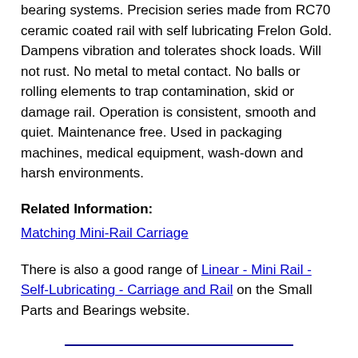bearing systems. Precision series made from RC70 ceramic coated rail with self lubricating Frelon Gold. Dampens vibration and tolerates shock loads. Will not rust. No metal to metal contact. No balls or rolling elements to trap contamination, skid or damage rail. Operation is consistent, smooth and quiet. Maintenance free. Used in packaging machines, medical equipment, wash-down and harsh environments.
Related Information:
Matching Mini-Rail Carriage
There is also a good range of Linear - Mini Rail - Self-Lubricating - Carriage and Rail on the Small Parts and Bearings website.